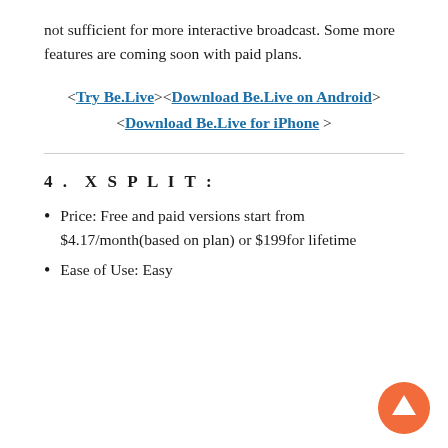not sufficient for more interactive broadcast. Some more features are coming soon with paid plans.
<Try Be.Live><Download Be.Live on Android> <Download Be.Live for iPhone >
4. XSPLIT:
Price: Free and paid versions start from $4.17/month(based on plan) or $199for lifetime
Ease of Use: Easy